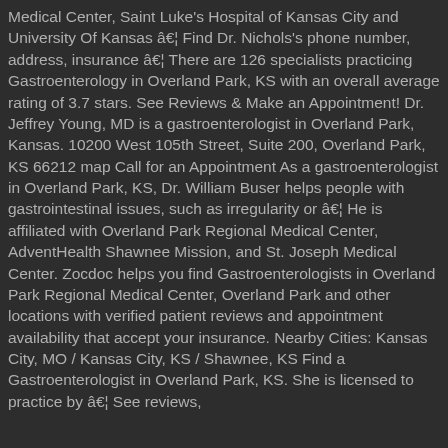Medical Center, Saint Luke's Hospital of Kansas City and University Of Kansas â€¦ Find Dr. Nichols's phone number, address, insurance â€¦ There are 126 specialists practicing Gastroenterology in Overland Park, KS with an overall average rating of 3.7 stars. See Reviews & Make an Appointment! Dr. Jeffrey Young, MD is a gastroenterologist in Overland Park, Kansas. 10200 West 105th Street, Suite 200, Overland Park, KS 66212 map Call for an Appointment As a gastroenterologist in Overland Park, KS, Dr. William Buser helps people with gastrointestinal issues, such as irregularity or â€¦ He is affiliated with Overland Park Regional Medical Center, AdventHealth Shawnee Mission, and St. Joseph Medical Center. Zocdoc helps you find Gastroenterologists in Overland Park Regional Medical Center, Overland Park and other locations with verified patient reviews and appointment availability that accept your insurance. Nearby Cities: Kansas City, MO / Kansas City, KS / Shawnee, KS Find a Gastroenterologist in Overland Park, KS. She is licensed to practice by â€¦ See reviews,